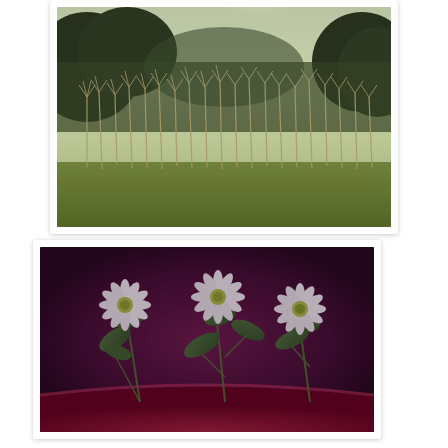[Figure (photo): Outdoor photo of tall wild grasses with feathery seed heads against a bright sky and trees in the background; warm, slightly hazy light. Vintage-filtered.]
[Figure (photo): Close-up photo of small white daisy-like flowers with green leaves in a dark red/maroon pot or bowl. Vintage-filtered with purple tones.]
Guess what???
Life sucks at times, but if we just keep pushing, we will get through the rough patch and come through on the other side.